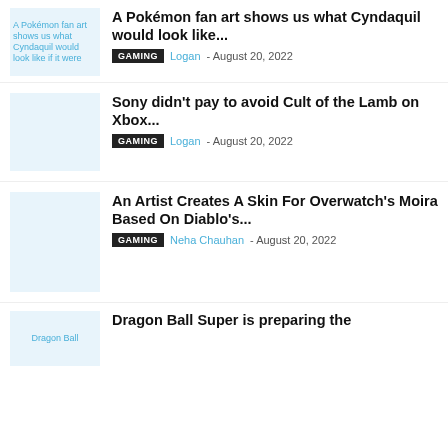A Pokémon fan art shows us what Cyndaquil would look like... | GAMING | Logan - August 20, 2022
Sony didn't pay to avoid Cult of the Lamb on Xbox... | GAMING | Logan - August 20, 2022
An Artist Creates A Skin For Overwatch's Moira Based On Diablo's... | GAMING | Neha Chauhan - August 20, 2022
Dragon Ball Super is preparing the...